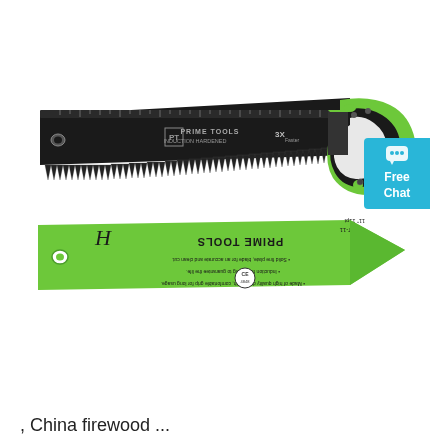[Figure (photo): Product photo showing a Prime Tools hand saw with black blade and green/black ergonomic handle, and below it a green blade cover/sheath with Prime Tools branding and bullet point text (shown upside down in image). The saw blade has measurement markings along the top and serrated teeth along the bottom. A 'Free Chat' badge appears in the upper right.]
, China firewood ...